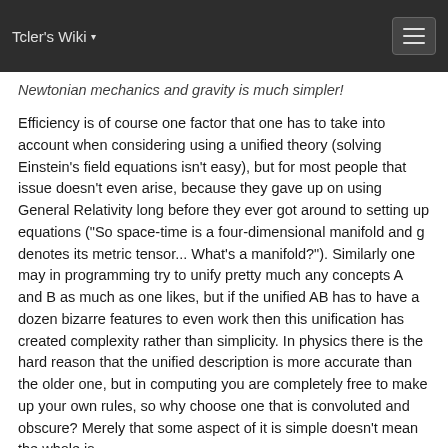Tcler's Wiki
Newtonian mechanics and gravity is much simpler!
Efficiency is of course one factor that one has to take into account when considering using a unified theory (solving Einstein's field equations isn't easy), but for most people that issue doesn't even arise, because they gave up on using General Relativity long before they ever got around to setting up equations ("So space-time is a four-dimensional manifold and g denotes its metric tensor... What's a manifold?"). Similarly one may in programming try to unify pretty much any concepts A and B as much as one likes, but if the unified AB has to have a dozen bizarre features to even work then this unification has created complexity rather than simplicity. In physics there is the hard reason that the unified description is more accurate than the older one, but in computing you are completely free to make up your own rules, so why choose one that is convoluted and obscure? Merely that some aspect of it is simple doesn't mean the whole is.
Tcl, I can agree, is simple. LISP I'm not so sure about. Reading the Common LISP manual mostly gave me the impression of a horribly complicated language (much of which is of course due to carrying